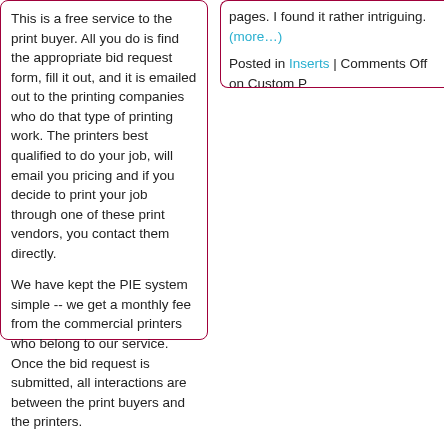This is a free service to the print buyer. All you do is find the appropriate bid request form, fill it out, and it is emailed out to the printing companies who do that type of printing work. The printers best qualified to do your job, will email you pricing and if you decide to print your job through one of these print vendors, you contact them directly.
We have kept the PIE system simple -- we get a monthly fee from the commercial printers who belong to our service. Once the bid request is submitted, all interactions are between the print buyers and the printers.
We are here to help, you can contact us by email at info@printindustry.com.
pages. I found it rather intriguing. (more...)
Posted in Inserts | Comments Off on Custom P...